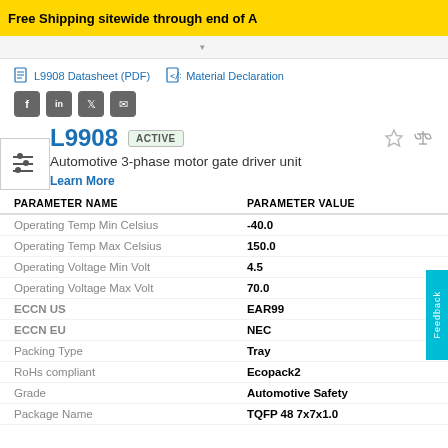Free Shipping sitewide through end of A
L9908 Datasheet (PDF)   Material Declaration
[Figure (other): Social share icons: Facebook, LinkedIn, Twitter, Email]
L9908  ACTIVE
Automotive 3-phase motor gate driver unit
Learn More
| PARAMETER NAME | PARAMETER VALUE |
| --- | --- |
| Operating Temp Min Celsius | -40.0 |
| Operating Temp Max Celsius | 150.0 |
| Operating Voltage Min Volt | 4.5 |
| Operating Voltage Max Volt | 70.0 |
| ECCN US | EAR99 |
| ECCN EU | NEC |
| Packing Type | Tray |
| RoHs compliant | Ecopack2 |
| Grade | Automotive Safety |
| Package Name | TQFP 48 7x7x1.0 |